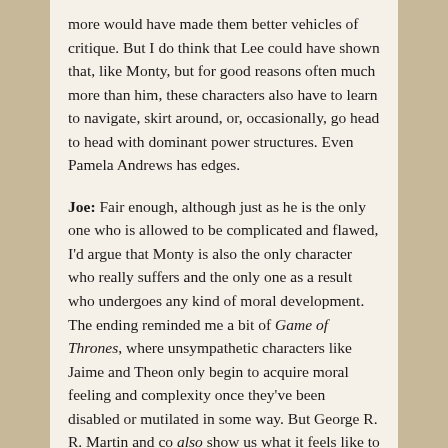more would have made them better vehicles of critique. But I do think that Lee could have shown that, like Monty, but for good reasons often much more than him, these characters also have to learn to navigate, skirt around, or, occasionally, go head to head with dominant power structures. Even Pamela Andrews has edges.
Joe: Fair enough, although just as he is the only one who is allowed to be complicated and flawed, I'd argue that Monty is also the only character who really suffers and the only one as a result who undergoes any kind of moral development. The ending reminded me a bit of Game of Thrones, where unsympathetic characters like Jaime and Theon only begin to acquire moral feeling and complexity once they've been disabled or mutilated in some way. But George R. R. Martin and co also show us what it feels like to be a dwarf or a bastard or a woman in Westeros. In this